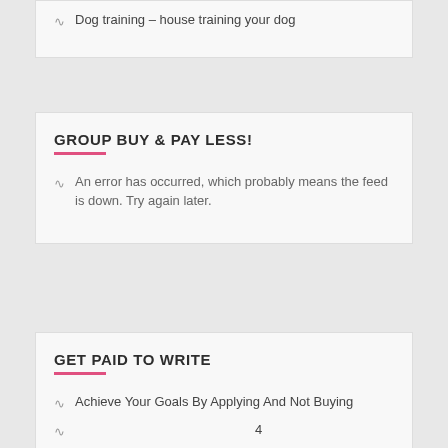Dog training – house training your dog
GROUP BUY & PAY LESS!
An error has occurred, which probably means the feed is down. Try again later.
GET PAID TO WRITE
Achieve Your Goals By Applying And Not Buying
4